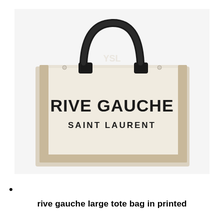[Figure (photo): Saint Laurent Rive Gauche large tote bag in cream/off-white canvas with black leather handles. The bag body is rectangular with a beige/tan leather trim border. Printed on the front in large bold black text: 'RIVE GAUCHE' and below it 'SAINT LAURENT'. Two black rounded leather top handles. The bag is photographed on a white background.]
•
rive gauche large tote bag in printed